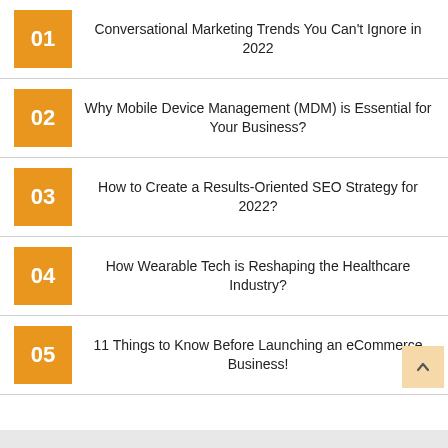01 Conversational Marketing Trends You Can't Ignore in 2022
02 Why Mobile Device Management (MDM) is Essential for Your Business?
03 How to Create a Results-Oriented SEO Strategy for 2022?
04 How Wearable Tech is Reshaping the Healthcare Industry?
05 11 Things to Know Before Launching an eCommerce Business!